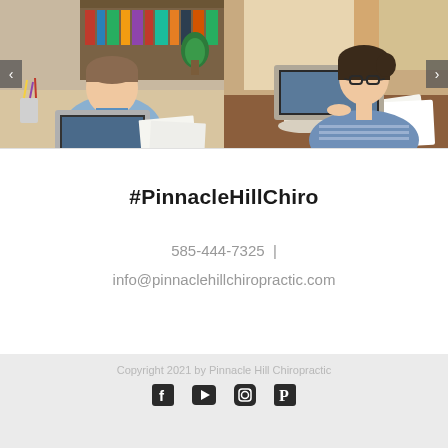[Figure (photo): Two side-by-side carousel images: left shows a man working on a laptop at a desk surrounded by bookshelves; right shows a woman with glasses working on a laptop at a cafe table with coffee and papers. Left and right navigation arrows visible.]
#PinnacleHillChiro
585-444-7325  |  info@pinnaclehillchiropractic.com
Copyright 2021 by Pinnacle Hill Chiropractic